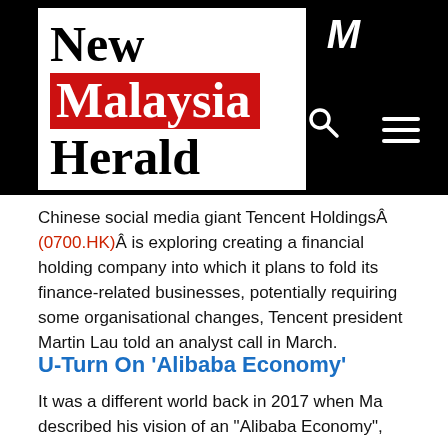[Figure (logo): New Malaysia Herald newspaper logo on black background header with search and menu icons]
Chinese social media giant Tencent HoldingsÂ (0700.HK)Â is exploring creating a financial holding company into which it plans to fold its finance-related businesses, potentially requiring some organisational changes, Tencent president Martin Lau told an analyst call in March.
U-Turn On ‘Alibaba Economy’
It was a different world back in 2017 when Ma described his vision of an “Alibaba Economy”,